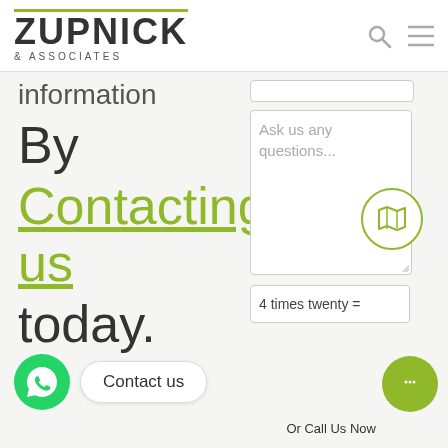[Figure (logo): Zupnick & Associates logo with green top border and navigation icons]
information
By Contacting us today.
[Figure (screenshot): Contact form with textarea showing 'Ask us any questions...', map icon, CAPTCHA field '4 times twenty =']
[Figure (illustration): WhatsApp green circle icon button]
Contact us
[Figure (illustration): Olive green chat bubble button]
Or Call Us Now